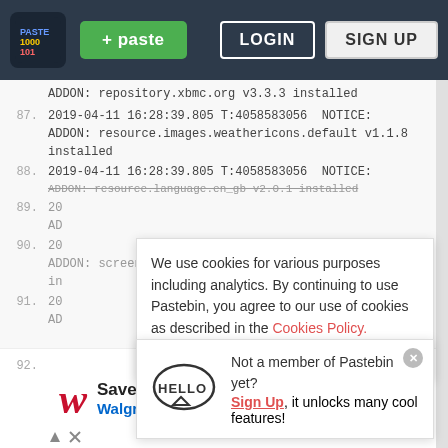[Figure (screenshot): Pastebin website screenshot showing navigation bar with logo, paste button, login and sign up buttons, code content with line numbers, a cookie consent banner, a sign-up popup with Hello speech bubble, and a Walgreens ad.]
ADDON: repository.xbmc.org v3.3.3 installed
87.  2019-04-11 16:28:39.805 T:4058583056  NOTICE:
ADDON: resource.images.weathericons.default v1.1.8 installed
88.  2019-04-11 16:28:39.805 T:4058583056  NOTICE:
ADDON: resource.language.en_gb v2.0.1 installed
89.  20
AD
We use cookies for various purposes including analytics. By continuing to use Pastebin, you agree to our use of cookies as described in the Cookies Policy.  OK, I Understand
90.  20
ADDON: screensaver.xbmc.builtin.black v1.0.33 in
91.  20
AD
Not a member of Pastebin yet?
Sign Up, it unlocks many cool features!
92.
[Figure (other): Walgreens Photo advertisement: Save BIG On Sun Care Today - Walgreens Photo with logo and direction arrow icon]